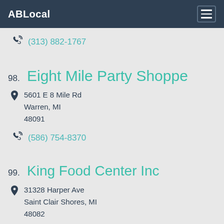ABLocal
(313) 882-1767
98. Eight Mile Party Shoppe
5601 E 8 Mile Rd
Warren, MI
48091
(586) 754-8370
99. King Food Center Inc
31328 Harper Ave
Saint Clair Shores, MI
48082